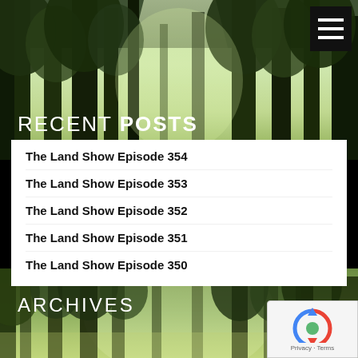[Figure (photo): Forest background with tall trees and green foliage, misty light filtering through]
RECENT POSTS
The Land Show Episode 354
The Land Show Episode 353
The Land Show Episode 352
The Land Show Episode 351
The Land Show Episode 350
[Figure (photo): Forest background with tall trees, misty green light filtering through]
ARCHIVES
August 2022
July 2022
June 2022